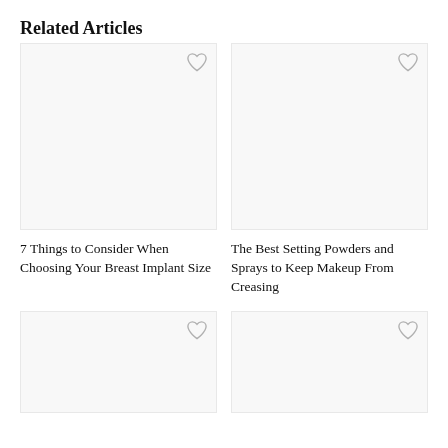Related Articles
[Figure (other): Blank image placeholder for article 1 with heart/bookmark icon]
7 Things to Consider When Choosing Your Breast Implant Size
[Figure (other): Blank image placeholder for article 2 with heart/bookmark icon]
The Best Setting Powders and Sprays to Keep Makeup From Creasing
[Figure (other): Blank image placeholder for article 3 with heart/bookmark icon]
[Figure (other): Blank image placeholder for article 4 with heart/bookmark icon]